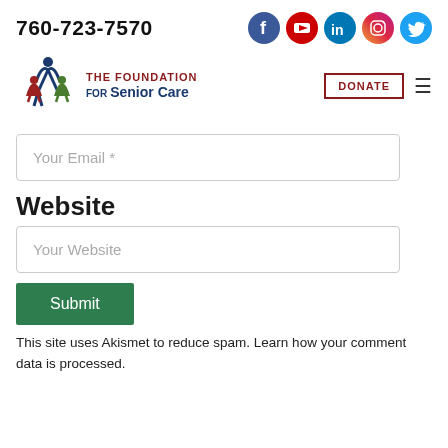760-723-7570
[Figure (logo): The Foundation for Senior Care logo with three stylized figures and text]
Your Email *
Website
Your Website
Submit
This site uses Akismet to reduce spam. Learn how your comment data is processed.